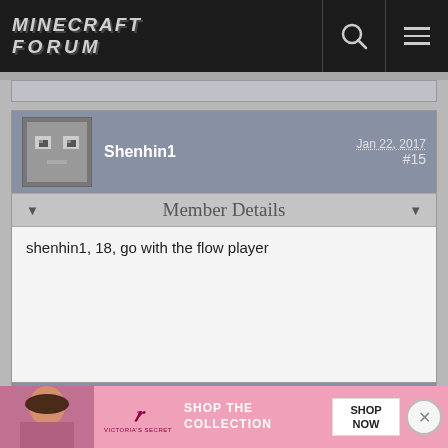Minecraft Forum
Shenhin1  Jan 22, 2017  #15
Member Details
shenhin1, 18, go with the flow player
Lordvanduu  Jan 25, 2017  #16
Member Details
GT: Lo...
Age: 38...
[Figure (screenshot): Victoria's Secret advertisement banner with model photo, VS logo, 'SHOP THE COLLECTION' text and 'SHOP NOW' button]